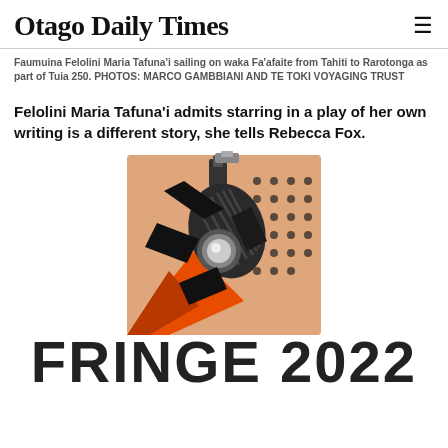Otago Daily Times
Faumuina Felolini Maria Tafuna'i sailing on waka Fa'afaite from Tahiti to Rarotonga as part of Tuia 250. PHOTOS: MARCO GAMBBIANI AND TE TOKI VOYAGING TRUST
Felolini Maria Tafuna'i admits starring in a play of her own writing is a different story, she tells Rebecca Fox.
[Figure (illustration): A stage spotlight / theatre lamp graphic with orange/red starburst and dotted background, part of a Fringe 2022 festival promotional image]
FRINGE 2022